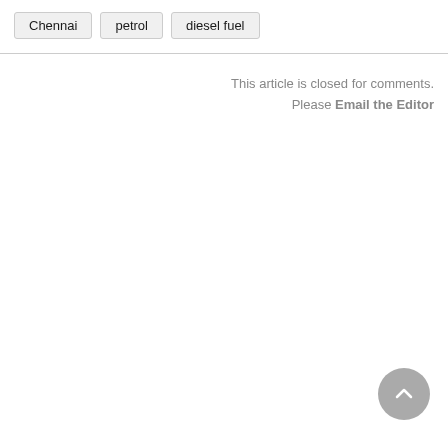Chennai
petrol
diesel fuel
This article is closed for comments. Please Email the Editor